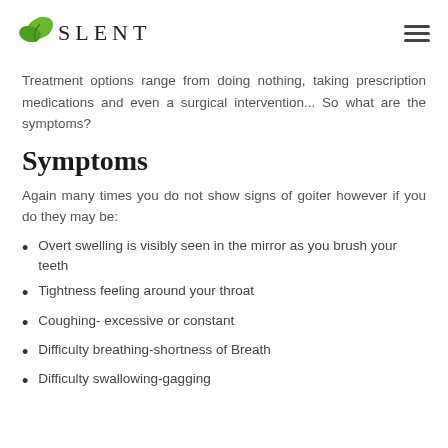SLENT
Treatment options range from doing nothing, taking prescription medications and even a surgical intervention... So what are the symptoms?
Symptoms
Again many times you do not show signs of goiter however if you do they may be:
Overt swelling is visibly seen in the mirror as you brush your teeth
Tightness feeling around your throat
Coughing- excessive or constant
Difficulty breathing-shortness of Breath
Difficulty swallowing-gagging